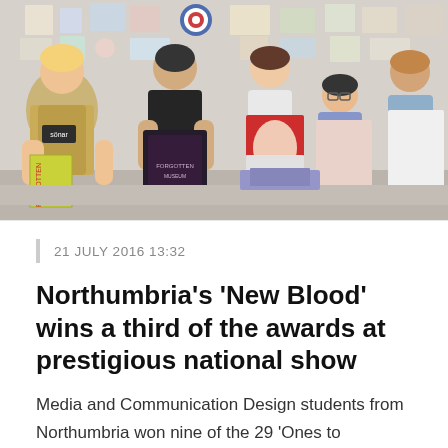[Figure (photo): Group photo of five Media and Communication Design students from Northumbria University, smiling and holding up their design portfolios and publications in a studio room with artwork pinned on the walls behind them.]
21 JULY 2016 13:32
Northumbria's 'New Blood' wins a third of the awards at prestigious national show
Media and Communication Design students from Northumbria won nine of the 29 'Ones to